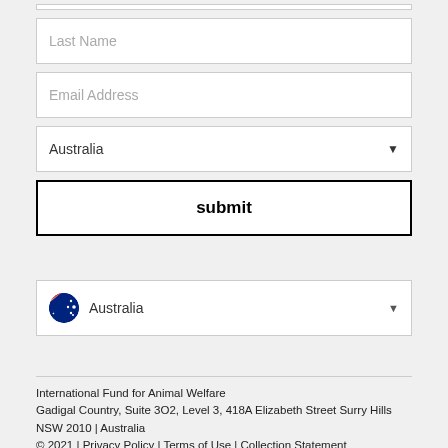Last Name
Email Address
Australia
submit
Australia
International Fund for Animal Welfare
Gadigal Country, Suite 3O2, Level 3, 418A Elizabeth Street Surry Hills NSW 2010 | Australia
© 2021 | Privacy Policy | Terms of Use | Collection Statement